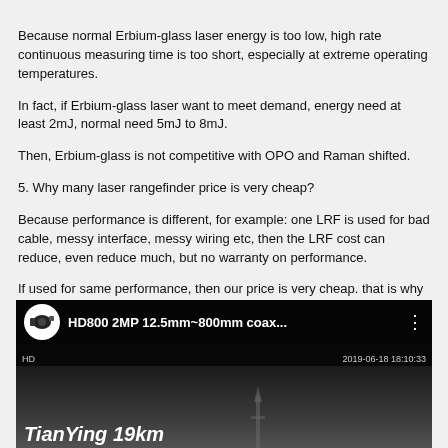Because normal Erbium-glass laser energy is too low, high rate continuous measuring time is too short, especially at extreme operating temperatures.
In fact, if Erbium-glass laser want to meet demand, energy need at least 2mJ, normal need 5mJ to 8mJ.
Then, Erbium-glass is not competitive with OPO and Raman shifted.
5. Why many laser rangefinder price is very cheap?
Because performance is different, for example: one LRF is used for bad cable, messy interface, messy wiring etc, then the LRF cost can reduce, even reduce much, but no warranty on performance.
If used for same performance, then our price is very cheap. that is why many laser rangefinder do not show their real main performance data.
Product Image
[Figure (screenshot): Screenshot of a video thumbnail showing HD800 2MP 12.5mm~800mm coax... with TianYing 19km text overlay, dated 2019-06-18 18:10:33]